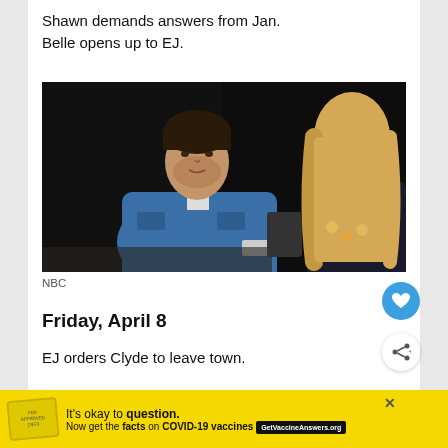Shawn demands answers from Jan.
Belle opens up to EJ.
[Figure (photo): TV show screenshot showing a man in a blue denim jacket facing a blonde woman seen from behind, in a dark room setting. NBC soap opera scene.]
NBC
Friday, April 8
EJ orders Clyde to leave town.
It's okay to question. Now get the facts on COVID-19 vaccines GetVaccineAnswers.org